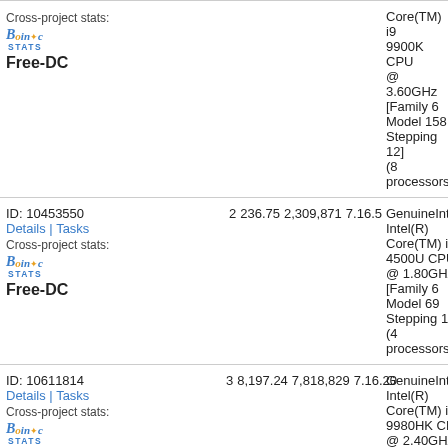| ID/Details | Rank | Credits | Total | Version | CPU Info |
| --- | --- | --- | --- | --- | --- |
| Cross-project stats: BOINC STATS Free-DC |  |  |  |  | Core(TM) i9 9900K CPU @ 3.60GHz [Family 6 Model 158 Stepping 12] (8 processors) |
| ID: 10453550
Details | Tasks
Cross-project stats: BOINC STATS Free-DC | 2 | 236.75 | 2,309,871 | 7.16.5 | GenuineIntel Intel(R) Core(TM) i7 4500U CPU @ 1.80GHz [Family 6 Model 69 Stepping 1] (4 processors) |
| ID: 10611814
Details | Tasks
Cross-project stats: BOINC STATS Free-DC | 3 | 8,197.24 | 7,818,829 | 7.16.20 | GenuineIntel Intel(R) Core(TM) i9 9980HK CPU @ 2.40GHz ... |